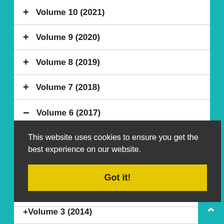+ Volume 10 (2021)
+ Volume 9 (2020)
+ Volume 8 (2019)
+ Volume 7 (2018)
− Volume 6 (2017)
Issue 4
122
Issue 3
124
Issue 2
+ Volume 3 (2014)
This website uses cookies to ensure you get the best experience on our website.
Got it!